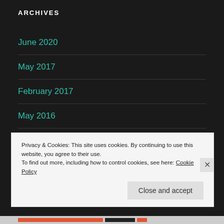ARCHIVES
June 2020
May 2017
February 2017
May 2016
April 2016
Privacy & Cookies: This site uses cookies. By continuing to use this website, you agree to their use.
To find out more, including how to control cookies, see here: Cookie Policy
Close and accept